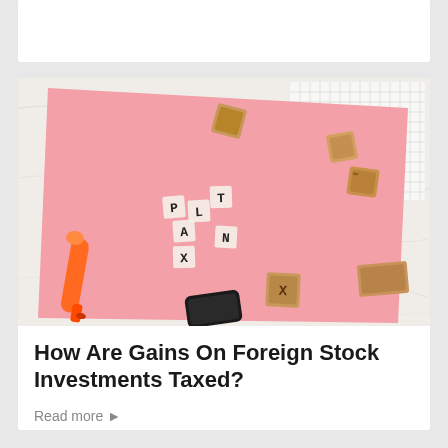[Figure (photo): Pink folder with letter stamps spelling PLAN X on a marble surface, with wooden letter stamps, an orange marker, a black phone, and a grid notebook in the background.]
How Are Gains On Foreign Stock Investments Taxed?
Read more ▶